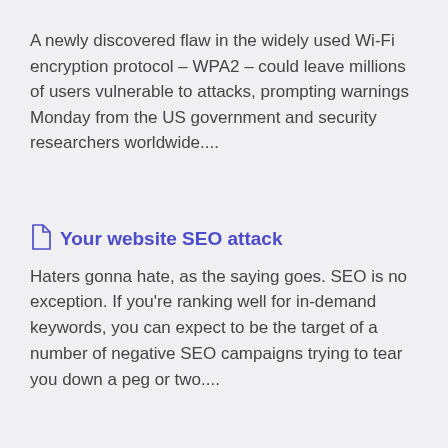A newly discovered flaw in the widely used Wi-Fi encryption protocol – WPA2 – could leave millions of users vulnerable to attacks, prompting warnings Monday from the US government and security researchers worldwide....
Your website SEO attack
Haters gonna hate, as the saying goes. SEO is no exception. If you're ranking well for in-demand keywords, you can expect to be the target of a number of negative SEO campaigns trying to tear you down a peg or two....